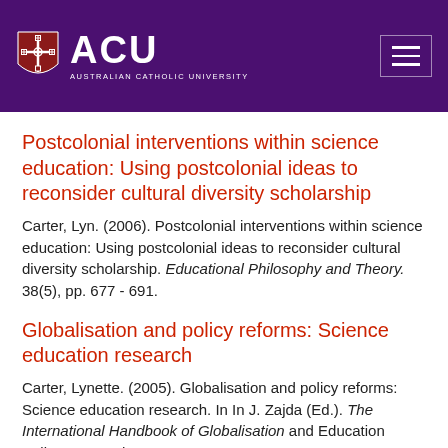[Figure (logo): ACU - Australian Catholic University logo on purple header background with hamburger menu icon on the right]
Postcolonial interventions within science education: Using postcolonial ideas to reconsider cultural diversity scholarship
Carter, Lyn. (2006). Postcolonial interventions within science education: Using postcolonial ideas to reconsider cultural diversity scholarship. Educational Philosophy and Theory. 38(5), pp. 677 - 691.
Globalisation and policy reforms: Science education research
Carter, Lynette. (2005). Globalisation and policy reforms: Science education research. In In J. Zajda (Ed.). The International Handbook of Globalisation and Education Policy Research. pp. 70 - 71.